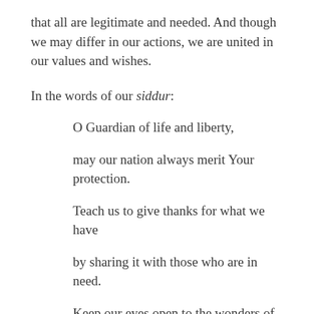that all are legitimate and needed. And though we may differ in our actions, we are united in our values and wishes.
In the words of our siddur:
O Guardian of life and liberty,
may our nation always merit Your protection.
Teach us to give thanks for what we have
by sharing it with those who are in need.
Keep our eyes open to the wonders of creation,
and alert to the care of the earth